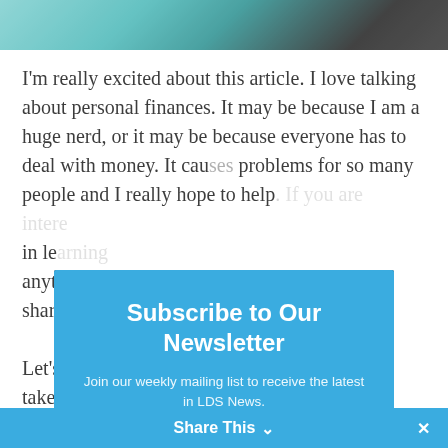[Figure (photo): Top portion of a person's head with colorful teal/green bokeh background, cropped to a horizontal strip]
I'm really excited about this article. I love talking about personal finances. It may be because I am a huge nerd, or it may be because everyone has to deal with money. It causes problems for so many people and I really hope to help. If you are interested in learning anything, please share it.
Let's … you take … be no te… e (the… your failu… t.
[Figure (screenshot): Newsletter subscription modal overlay with blue header reading 'Subscribe to Our Newsletter', subtitle 'Join our weekly mailing list to receive the latest in LDS News.', an email input field, and a red SUBSCRIBE button. A dark charcoal lower section contains the form. A white X close button appears at the top-left of the modal.]
Share This ∨  ✕